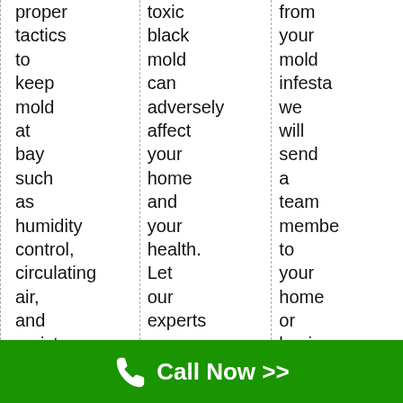proper tactics to keep mold at bay such as humidity control, circulating air, and moisture prevention in attics, basements, kitchens and more.
toxic black mold can adversely affect your home and your health. Let our experts uncover the source and completely remove the toxic black
from your mold infesta we will send a team membe to your home or busines to tackle every aspect of your mold probler
Call Now >>